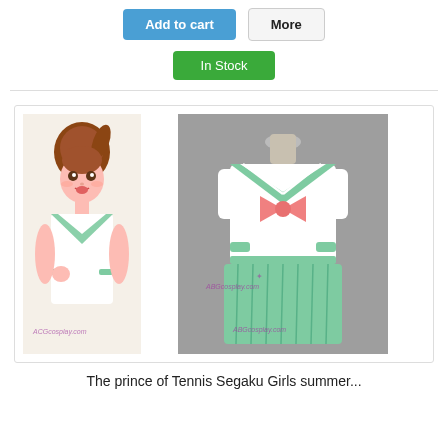[Figure (screenshot): E-commerce product page showing Add to cart and More buttons, In Stock badge, product images of anime character and cosplay costume (The Prince of Tennis Segaku Girls summer uniform), and product title text.]
The prince of Tennis Segaku Girls summer...